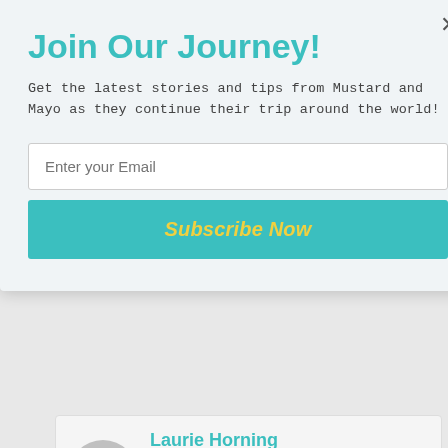Join Our Journey!
Get the latest stories and tips from Mustard and Mayo as they continue their trip around the world!
Enter your Email
Subscribe Now
Laurie Horning
[Figure (logo): POWERED BY SUMO badge with crown icon]
August 31, 2016 at 3:23 pm
It was incredible! Never seen bamboo that big! Hope your garden's doing well and your summer was well, Vicki! -Laurie
Reply